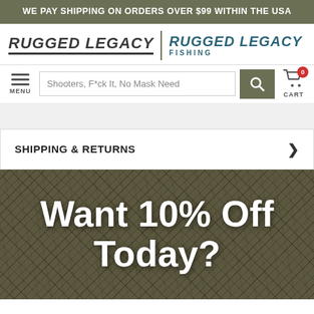WE PAY SHIPPING ON ORDERS OVER $99 WITHIN THE USA
[Figure (logo): Rugged Legacy and Rugged Legacy Fishing logos side by side]
Shooters, F*ck It, No Mask Need
MENU
CART
SHIPPING & RETURNS
Want 10% Off Today?